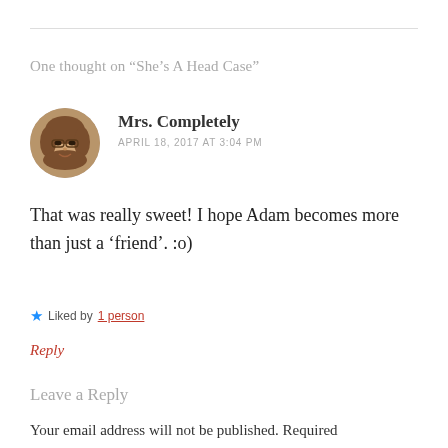One thought on “She’s A Head Case”
[Figure (photo): Circular avatar photo of a woman with shoulder-length brown hair and glasses, smiling]
Mrs. Completely
APRIL 18, 2017 AT 3:04 PM
That was really sweet! I hope Adam becomes more than just a ‘friend’. :o)
★ Liked by 1 person
Reply
Leave a Reply
Your email address will not be published. Required